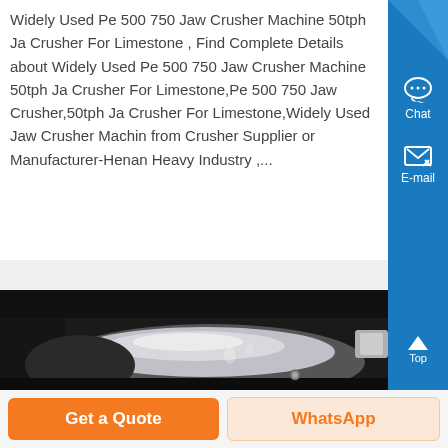Widely Used Pe 500 750 Jaw Crusher Machine 50tph Jaw Crusher For Limestone , Find Complete Details about Widely Used Pe 500 750 Jaw Crusher Machine 50tph Jaw Crusher For Limestone,Pe 500 750 Jaw Crusher,50tph Jaw Crusher For Limestone,Widely Used Jaw Crusher Machine from Crusher Supplier or Manufacturer-Henan Heavy Industry ,...
[Figure (photo): Close-up photo of a jaw crusher machine component showing a cylindrical metal part with dark background]